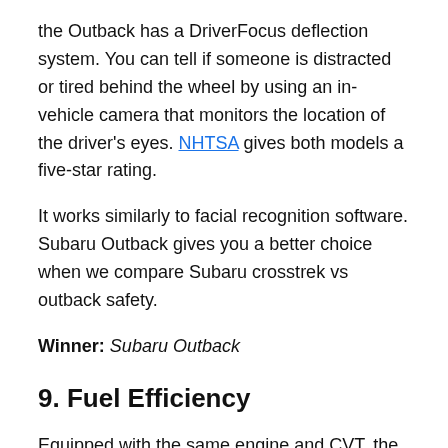the Outback has a DriverFocus deflection system. You can tell if someone is distracted or tired behind the wheel by using an in-vehicle camera that monitors the location of the driver's eyes. NHTSA gives both models a five-star rating.
It works similarly to facial recognition software. Subaru Outback gives you a better choice when we compare Subaru crosstrek vs outback safety.
Winner: Subaru Outback
9. Fuel Efficiency
Equipped with the same engine and CVT, the Crosstrek and Outback are pretty close in terms of fuel economy.